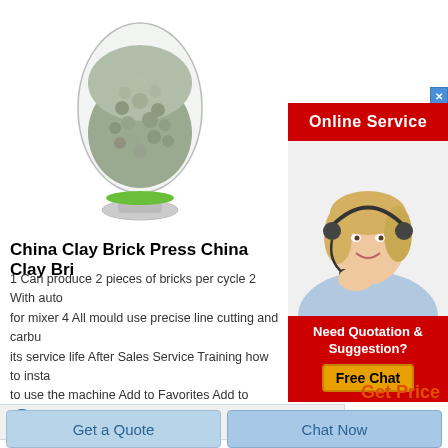[Figure (photo): Product photo: grey granular material in a clear egg-shaped glass container on a small green base, displayed on white background]
[Figure (photo): Online Service advertisement panel with red header bar reading 'Online Service', photo of blonde woman with headset smiling, red section reading 'Need Quotation & Suggestion?' with yellow 'Free Chat' button]
China Clay Brick Press China Clay Bri
1 Can produce 2 pieces of bricks per cycle 2 With auto for mixer 4 All mould use precise line cutting and carbu its service life After Sales Service Training how to insta to use the machine Add to Favorites Add to Compare
Get Price
[Figure (screenshot): Internet Explorer browser icon (blue/yellow sphere) in a light grey bar]
Get a Quote
Chat Now